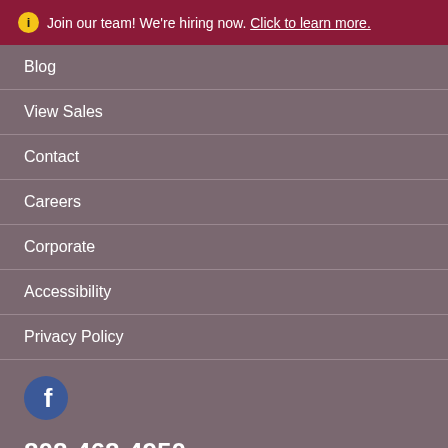Join our team! We're hiring now. Click to learn more.
Blog
View Sales
Contact
Careers
Corporate
Accessibility
Privacy Policy
808-468-4950
Honolulu, HI 96813
© 2022 G.T. Franchising Systems, Inc. All rights reserved.